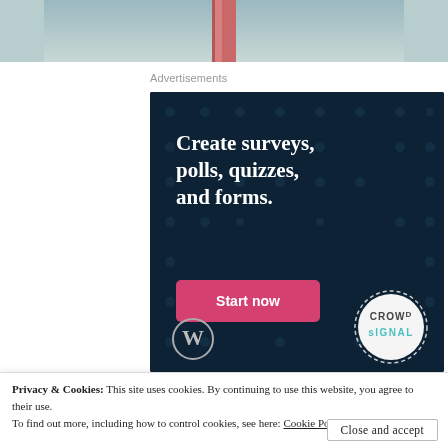[Figure (photo): Partial photograph showing a red rod/pole against a light teal/grey sky background]
Advertisements
[Figure (illustration): Dark navy advertisement banner for Crowdsignal/WordPress: 'Create surveys, polls, quizzes, and forms.' with a pink 'Start now' button, WordPress logo at bottom left, and Crowdsignal circular badge at bottom right. Background has subtle dot pattern.]
Privacy & Cookies: This site uses cookies. By continuing to use this website, you agree to their use.
To find out more, including how to control cookies, see here: Cookie Policy
Close and accept